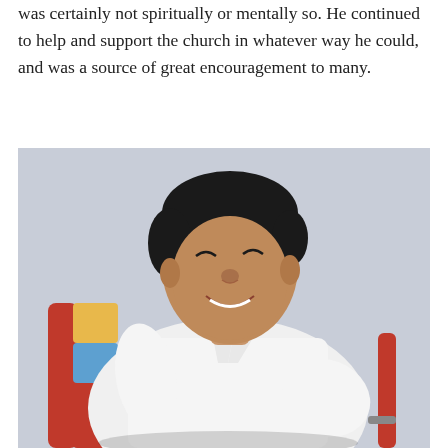was certainly not spiritually or mentally so. He continued to help and support the church in whatever way he could, and was a source of great encouragement to many.
[Figure (photo): A middle-aged Asian man smiling warmly, seated in a chair with a colorful back, wearing a white long-sleeve shirt, photographed against a light blue-grey background.]